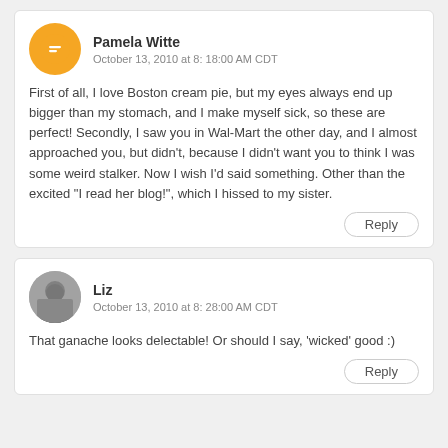Pamela Witte
October 13, 2010 at 8: 18:00 AM CDT
First of all, I love Boston cream pie, but my eyes always end up bigger than my stomach, and I make myself sick, so these are perfect! Secondly, I saw you in Wal-Mart the other day, and I almost approached you, but didn't, because I didn't want you to think I was some weird stalker. Now I wish I'd said something. Other than the excited "I read her blog!", which I hissed to my sister.
Reply
Liz
October 13, 2010 at 8: 28:00 AM CDT
That ganache looks delectable! Or should I say, 'wicked' good :)
Reply